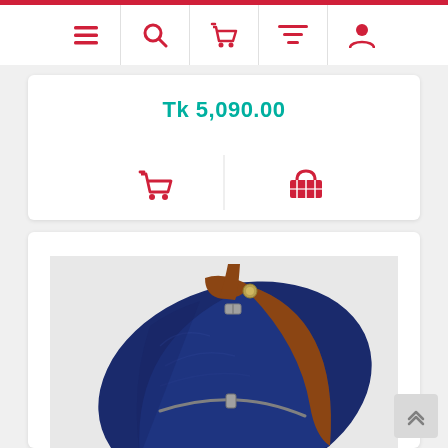Navigation bar with icons: menu, search, cart, filter, profile
Tk 5,090.00
[Figure (photo): Navy blue and brown leather sling/crossbody bag with adjustable strap, buckle, and zipper, photographed on a light gray background]
Scroll to top button